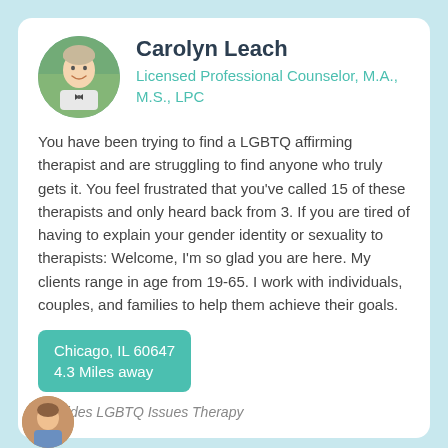[Figure (photo): Circular profile photo of Carolyn Leach, a smiling person with short light hair, wearing a bow tie, with green foliage in background]
Carolyn Leach
Licensed Professional Counselor, M.A., M.S., LPC
You have been trying to find a LGBTQ affirming therapist and are struggling to find anyone who truly gets it. You feel frustrated that you've called 15 of these therapists and only heard back from 3. If you are tired of having to explain your gender identity or sexuality to therapists: Welcome, I'm so glad you are here. My clients range in age from 19-65. I work with individuals, couples, and families to help them achieve their goals.
Chicago, IL 60647
4.3 Miles away
Provides LGBTQ Issues Therapy
[Figure (photo): Partial circular profile photo of another therapist at the bottom of the page]